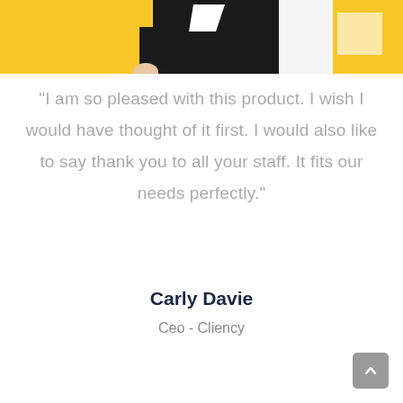[Figure (illustration): Partial illustration at the top of the page showing a figure in black and yellow colors against a white/yellow background, cropped to show only the lower portion.]
"I am so pleased with this product. I wish I would have thought of it first. I would also like to say thank you to all your staff. It fits our needs perfectly."
Carly Davie
Ceo - Cliency